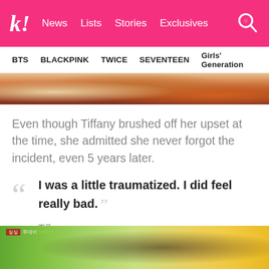k! News  Lists  Stories  Exclusives
BTS  BLACKPINK  TWICE  SEVENTEEN  Girls' Generation
[Figure (photo): Partial photo strip showing people, appears to be a colorful scene]
Even though Tiffany brushed off her upset at the time, she admitted she never forgot the incident, even 5 years later.
“I was a little traumatized. I did feel really bad.” — Tiffany
[Figure (photo): Bottom image showing a person outdoors with green and yellow background, with Korean text overlay]